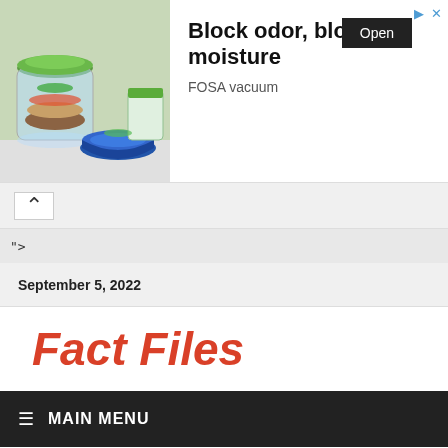[Figure (photo): Advertisement banner showing food storage containers with green lids, a blue patterned bowl with vegetables. Text reads: Block odor, block moisture. FOSA vacuum. Open button visible.]
^
">
September 5, 2022
Fact Files
≡  MAIN MENU
Nima Elbagir Bio, Age, Height, Parents, Siblings,